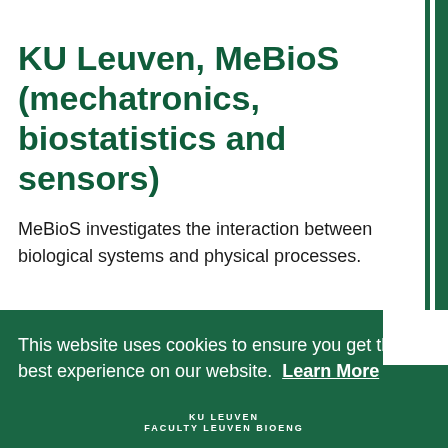KU Leuven, MeBioS (mechatronics, biostatistics and sensors)
MeBioS investigates the interaction between biological systems and physical processes.
This website uses cookies to ensure you get the best experience on our website. Learn More
Got it!